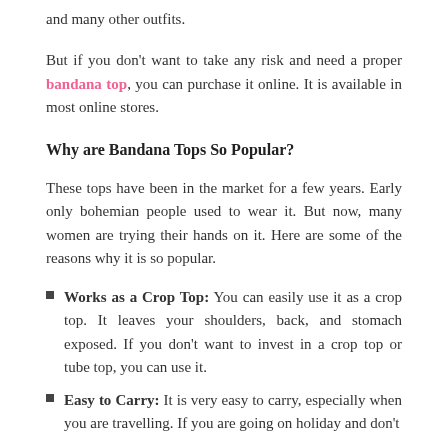and many other outfits.
But if you don't want to take any risk and need a proper bandana top, you can purchase it online. It is available in most online stores.
Why are Bandana Tops So Popular?
These tops have been in the market for a few years. Early only bohemian people used to wear it. But now, many women are trying their hands on it. Here are some of the reasons why it is so popular.
Works as a Crop Top: You can easily use it as a crop top. It leaves your shoulders, back, and stomach exposed. If you don't want to invest in a crop top or tube top, you can use it.
Easy to Carry: It is very easy to carry, especially when you are travelling. If you are going on holiday and don't